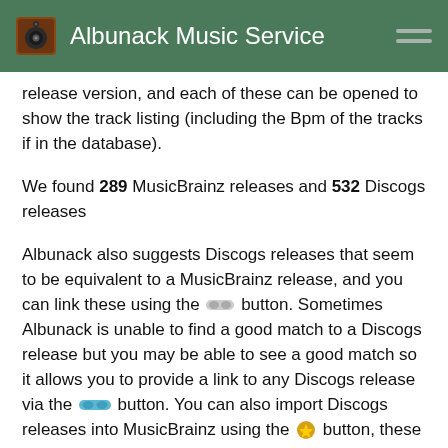Albunack Music Service
release version, and each of these can be opened to show the track listing (including the Bpm of the tracks if in the database).
We found 289 MusicBrainz releases and 532 Discogs releases
Albunack also suggests Discogs releases that seem to be equivalent to a MusicBrainz release, and you can link these using the [link] button. Sometimes Albunack is unable to find a good match to a Discogs release but you may be able to see a good match so it allows you to provide a link to any Discogs release via the [link] button. You can also import Discogs releases into MusicBrainz using the [icon] button, these are both available from the Action column for the release In all cases Albunack prepopulates the MusicBrainz Release Editor with the new information but